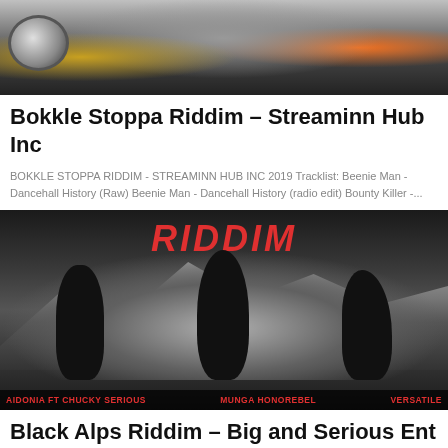[Figure (photo): Album art for Bokkle Stoppa Riddim - Streaminn Hub Inc, showing cartoon/comic style figures and a circular logo]
Bokkle Stoppa Riddim – Streaminn Hub Inc
BOKKLE STOPPA RIDDIM - STREAMINN HUB INC 2019 Tracklist: Beenie Man - Dancehall History (Raw) Beenie Man - Dancehall History (radio edit) Bounty Killer -...
[Figure (photo): Album art for Black Alps Riddim - Big and Serious Ent, showing silhouettes of three dancing women against a mountain backdrop with text RIDDIM at top, artists listed at bottom: AIDONIA FT CHUCKY SERIOUS, MUNGA HONOREBEL, VERSATILE]
Black Alps Riddim – Big and Serious Ent
BLACK ALPS RIDDIM - BIG & SERIOUS ENT 2020 Tracklist: Aidonia